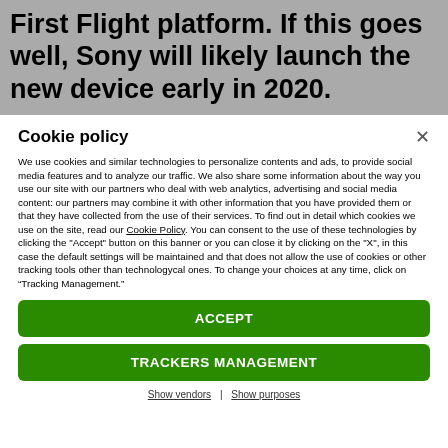First Flight platform. If this goes well, Sony will likely launch the new device early in 2020.
Cookie policy
We use cookies and similar technologies to personalize contents and ads, to provide social media features and to analyze our traffic. We also share some information about the way you use our site with our partners who deal with web analytics, advertising and social media content: our partners may combine it with other information that you have provided them or that they have collected from the use of their services. To find out in detail which cookies we use on the site, read our Cookie Policy. You can consent to the use of these technologies by clicking the "Accept" button on this banner or you can close it by clicking on the "X", in this case the default settings will be maintained and that does not allow the use of cookies or other tracking tools other than technologycal ones. To change your choices at any time, click on “Tracking Management.”
ACCEPT
TRACKERS MANAGEMENT
Show vendors | Show purposes